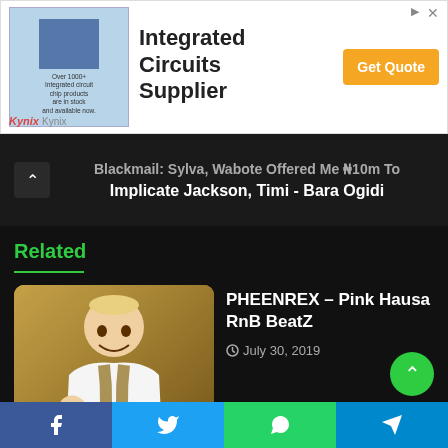[Figure (screenshot): Advertisement banner for Kynix Integrated Circuits Supplier with chip image and Get Quote button]
Blackmail: Sylva, Wabote Offered Me ₦10m To Implicate Jackson, Timi - Bara Ogidi
Related
[Figure (photo): Photo of Rochas Okorocha in traditional attire on brown background]
PHEENREX – Pink Hausa RnB BeatZ
July 30, 2019
Rochas Okorocha And The